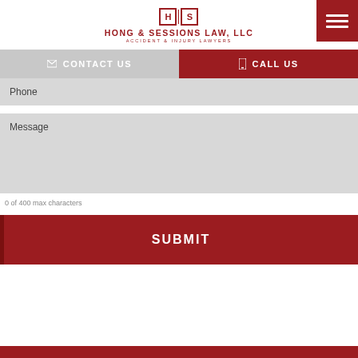[Figure (logo): Hong & Sessions Law, LLC logo with H|S monogram and 'ACCIDENT & INJURY LAWYERS' tagline]
CONTACT US   CALL US
Phone
Message
0 of 400 max characters
SUBMIT